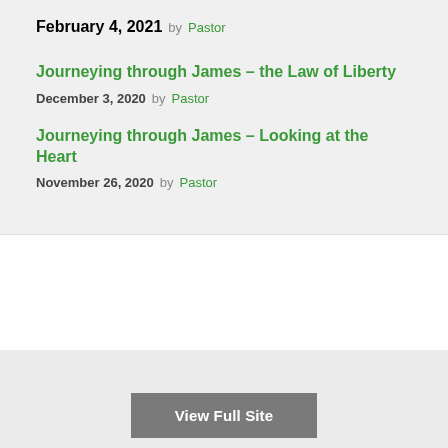February 4, 2021   by Pastor
Journeying through James – the Law of Liberty
December 3, 2020   by Pastor
Journeying through James – Looking at the Heart
November 26, 2020   by Pastor
View Full Site